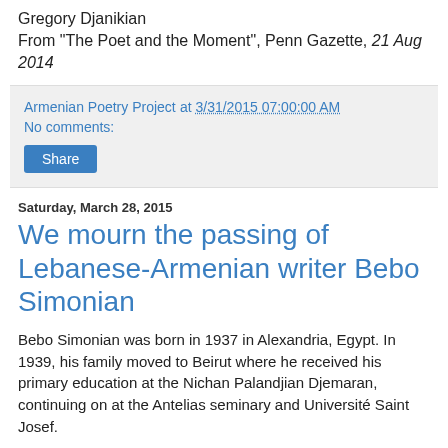Gregory Djanikian
From "The Poet and the Moment", Penn Gazette, 21 Aug 2014
Armenian Poetry Project at 3/31/2015 07:00:00 AM
No comments:
Share
Saturday, March 28, 2015
We mourn the passing of Lebanese-Armenian writer Bebo Simonian
Bebo Simonian was born in 1937 in Alexandria, Egypt. In 1939, his family moved to Beirut where he received his primary education at the Nichan Palandjian Djemaran, continuing on at the Antelias seminary and Université Saint Josef.
With a career spanning over 40 years, Bebo Simonian was a